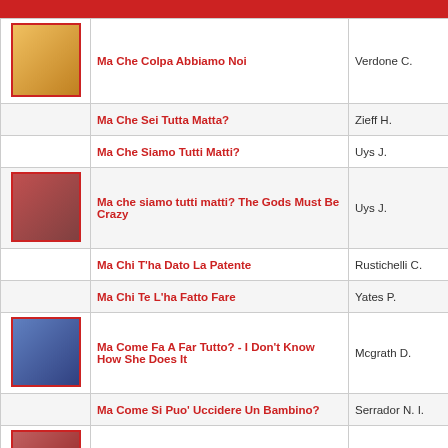|  | Title | Director |
| --- | --- | --- |
| [image] | Ma Che Colpa Abbiamo Noi | Verdone C. |
|  | Ma Che Sei Tutta Matta? | Zieff H. |
|  | Ma Che Siamo Tutti Matti? | Uys J. |
| [image] | Ma che siamo tutti matti? The Gods Must Be Crazy | Uys J. |
|  | Ma Chi T'ha Dato La Patente | Rustichelli C. |
|  | Ma Chi Te L'ha Fatto Fare | Yates P. |
| [image] | Ma Come Fa A Far Tutto? - I Don't Know How She Does It | Mcgrath D. |
|  | Ma Come Si Puo' Uccidere Un Bambino? | Serrador N. I. |
| [image] | Ma Cosa Ci Dice Il Cervello | Milani R. |
|  | Ma Dove E' Andata La Mia Bambina? | Miner S. |
| [image] | Ma Guarda Un Po' 'sti Americani | Heckerling A. |